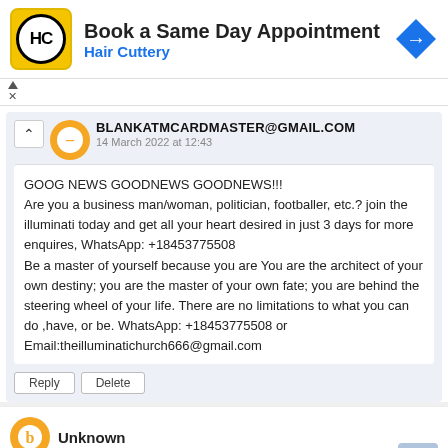[Figure (screenshot): Advertisement banner for Hair Cuttery with logo, text 'Book a Same Day Appointment', blue subtitle 'Hair Cuttery', and a blue navigation arrow icon on the right.]
BLANKATMCARDMASTER@GMAIL.COM
14 March 2022 at 12:43
GOOG NEWS GOODNEWS GOODNEWS!!!
Are you a business man/woman, politician, footballer, etc.? join the illuminati today and get all your heart desired in just 3 days for more enquires, WhatsApp: +18453775508
Be a master of yourself because you are You are the architect of your own destiny; you are the master of your own fate; you are behind the steering wheel of your life. There are no limitations to what you can do ,have, or be. WhatsApp: +18453775508 or Email:theilluminatichurch666@gmail.com
Unknown